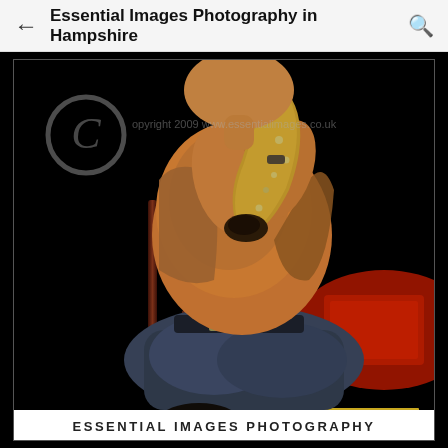Essential Images Photography in Hampshire
[Figure (photo): Concert photograph of a musician (saxophonist) seated on a chair, playing saxophone, shot in dramatic stage lighting with dark background, red light visible at right, yellow stripes at bottom. Copyright watermark: Copyright 2009 www.essentialimages.co.uk. Caption at bottom: ESSENTIAL IMAGES PHOTOGRAPHY.]